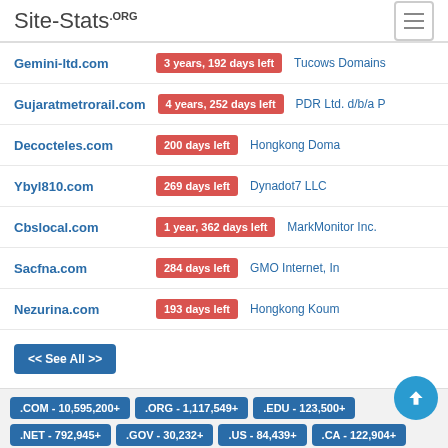Site-Stats.ORG
| Domain | Expiry | Registrar |
| --- | --- | --- |
| Gemini-ltd.com | 3 years, 192 days left | Tucows Domains |
| Gujaratmetrorail.com | 4 years, 252 days left | PDR Ltd. d/b/a P |
| Decocteles.com | 200 days left | Hongkong Doma |
| Ybyl810.com | 269 days left | Dynadot7 LLC |
| Cbslocal.com | 1 year, 362 days left | MarkMonitor Inc. |
| Sacfna.com | 284 days left | GMO Internet, In |
| Nezurina.com | 193 days left | Hongkong Koum |
<< See All >>
.COM - 10,595,200+
.ORG - 1,117,549+
.EDU - 123,500+
.NET - 792,945+
.GOV - 30,232+
.US - 84,439+
.CA - 122,904+
.DE - 220,061+
.UK - 272,390+
.IT - 108,882+
.AU - 152,812+
.CO - 51,739+
.BIZ - 59,081+
.IO - 32,494+
.NL - 99,647+
.SG - 19,713+
.INFO - 81,589+
.IE - 26,934+
.ME - 25,076+